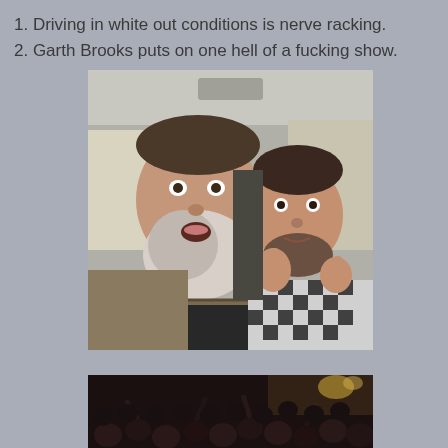1. Driving in white out conditions is nerve racking.
2. Garth Brooks puts on one hell of a fucking show.
[Figure (photo): Two bearded men sitting inside a vehicle. The man on the left has a large beard and is wearing a plaid shirt with a dark vest. The man on the right is giving a thumbs up and wearing a checkered shirt. They appear to be taking a selfie inside a car.]
[Figure (photo): Partial view of a concert crowd in a dark venue, audience members visible with some stage lighting in the background.]